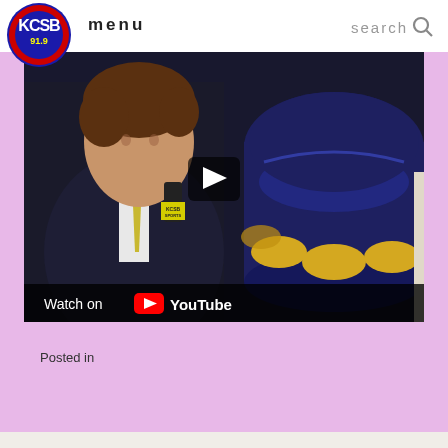menu  search
[Figure (screenshot): YouTube video embed showing a young man in a suit with yellow tie holding a KCSB Sports microphone, with a mascot character in dark blue costume with gold accents visible to the right. A play button overlay is shown in the center. The bottom of the video shows 'Watch on YouTube' bar.]
Posted in